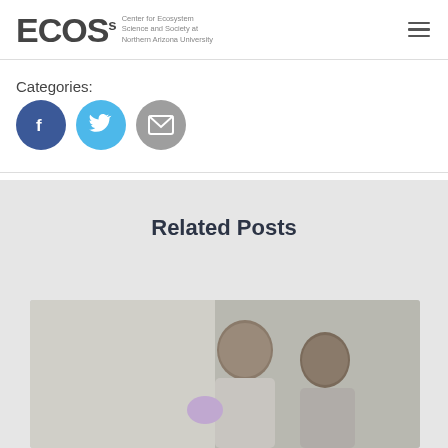ECOS - Center for Ecosystem Science and Society at Northern Arizona University
Categories:
[Figure (infographic): Three social share buttons: Facebook (dark blue circle with f icon), Twitter (light blue circle with bird icon), Email (gray circle with envelope icon)]
Related Posts
[Figure (photo): Two people in a laboratory setting, one wearing purple gloves, viewed from behind/side]